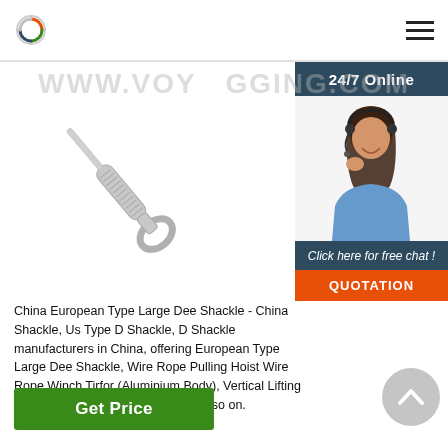www.voyrigging.com
[Figure (photo): Eye bolt / dee shackle turnbuckle product photo on white background]
[Figure (photo): Customer service representative with headset, 24/7 Online chat widget sidebar]
China European Type Large Dee Shackle - China Shackle, Us Type D Shackle, D Shackle manufacturers in China, offering European Type Large Dee Shackle, Wire Rope Pulling Hoist Wire Rope Winch Tirfor (Aluminium Body), Vertical Lifting Clamp/Plate Clamp Vlc-a Type and so on.
Get Price